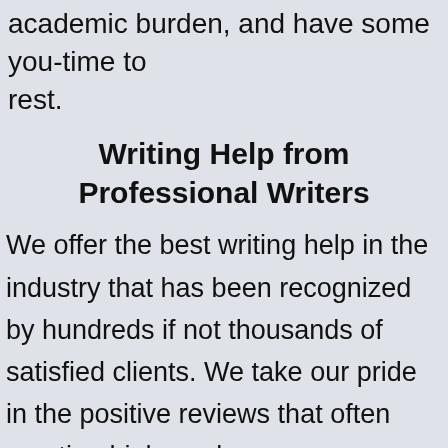academic burden, and have some you-time to rest.
Writing Help from Professional Writers
We offer the best writing help in the industry that has been recognized by hundreds if not thousands of satisfied clients. We take our pride in the positive reviews that often mention high grades, zero plagiarism, best price/quality ratio, excellent support, and communication with the writer do appreciate that our customers stay satisfied not